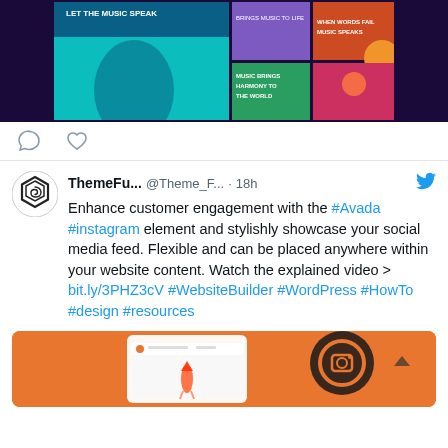[Figure (screenshot): Social media music post grid showing a purple-themed music promotion with teal main image and grid of colorful panels]
[Figure (illustration): Comment and like icons (speech bubble and heart) for social media interaction]
ThemeFu... @Theme_F... · 18h Enhance customer engagement with the #Avada #instagram element and stylishly showcase your social media feed. Flexible and can be placed anywhere within your website content. Watch the explained video > bit.ly/3PHZ3cV #WebsiteBuilder #WordPress #HowTo #design #resources
[Figure (screenshot): Orange-themed image showing Instagram feed builder interface with rocket illustration]